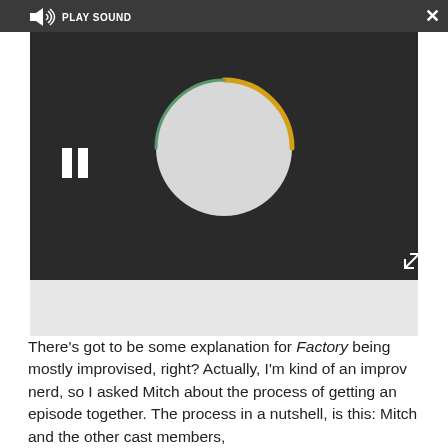[Figure (screenshot): Media player interface with dark toolbar showing PLAY SOUND button with speaker icon, a video/audio player area with dark background containing a circular spinner graphic and pause button, and an expand/close button UI. Below the dark player area is a light gray panel.]
There’s got to be some explanation for Factory being mostly improvised, right? Actually, I’m kind of an improv nerd, so I asked Mitch about the process of getting an episode together. The process in a nutshell, is this: Mitch and the other cast members,